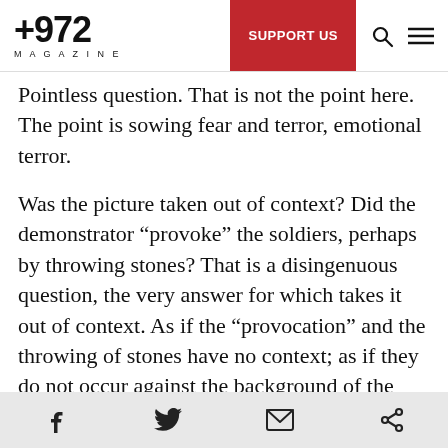+972 MAGAZINE | SUPPORT US
Pointless question. That is not the point here. The point is sowing fear and terror, emotional terror.
Was the picture taken out of context? Did the demonstrator “provoke” the soldiers, perhaps by throwing stones? That is a disingenuous question, the very answer for which takes it out of context. As if the “provocation” and the throwing of stones have no context; as if they do not occur against the background of the basic, unchanging context of occupation and dispossession. What the hell is an Israeli soldier doing on Palestinian land? Why is he
Facebook | Twitter | Email | Share